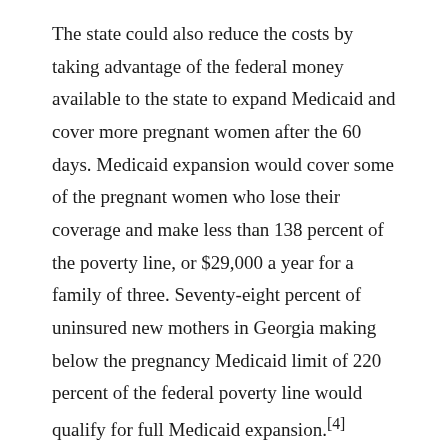The state could also reduce the costs by taking advantage of the federal money available to the state to expand Medicaid and cover more pregnant women after the 60 days. Medicaid expansion would cover some of the pregnant women who lose their coverage and make less than 138 percent of the poverty line, or $29,000 a year for a family of three. Seventy-eight percent of uninsured new mothers in Georgia making below the pregnancy Medicaid limit of 220 percent of the federal poverty line would qualify for full Medicaid expansion.[4] Expanding Medicaid would allow the state to receive a 90 percent federal match compared to the 67 percent federal match used in the fiscal notes, lowering the total cost to the state for the postpartum extension.